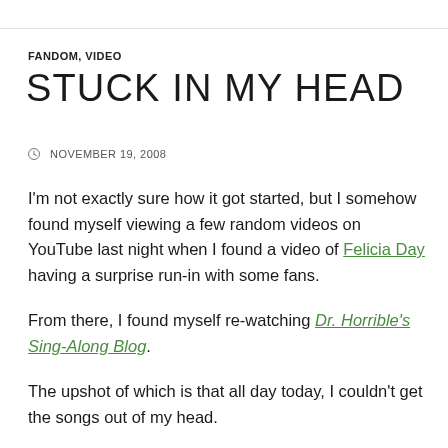FANDOM, VIDEO
STUCK IN MY HEAD
NOVEMBER 19, 2008
I'm not exactly sure how it got started, but I somehow found myself viewing a few random videos on YouTube last night when I found a video of Felicia Day having a surprise run-in with some fans.
From there, I found myself re-watching Dr. Horrible's Sing-Along Blog.
The upshot of which is that all day today, I couldn't get the songs out of my head.